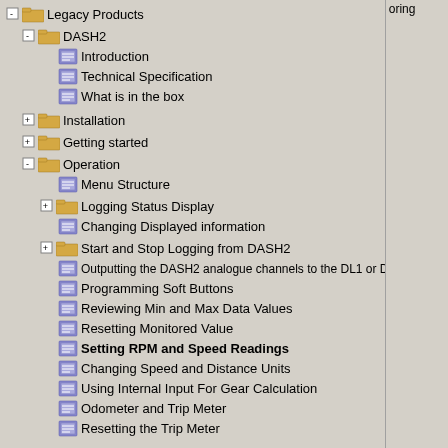Legacy Products
DASH2
Introduction
Technical Specification
What is in the box
Installation
Getting started
Operation
Menu Structure
Logging Status Display
Changing Displayed information
Start and Stop Logging from DASH2
Outputting the DASH2 analogue channels to the DL1 or DL2
Programming Soft Buttons
Reviewing Min and Max Data Values
Resetting Monitored Value
Setting RPM and Speed Readings
Changing Speed and Distance Units
Using Internal Input For Gear Calculation
Odometer and Trip Meter
Resetting the Trip Meter